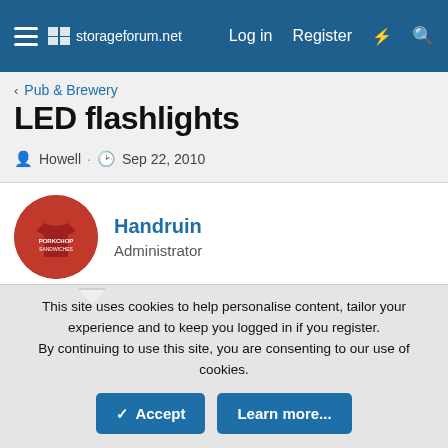storageforum.net — Log in  Register
< Pub & Brewery
LED flashlights
Howell · Sep 22, 2010
Handruin
Administrator
Jan 12, 2018  #281
If you get curious, I supplied a link in this post. They come right from Intel.
LunarMist
This site uses cookies to help personalise content, tailor your experience and to keep you logged in if you register.
By continuing to use this site, you are consenting to our use of cookies.
Accept  Learn more...